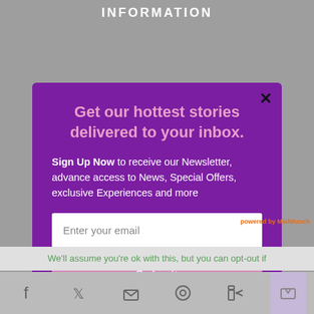INFORMATION
Get our hottest stories delivered to your inbox.
Sign Up Now to receive our Newsletter, advance access to News, Special Offers, exclusive Experiences and more
Enter your email
Submit
We'll assume you're ok with this, but you can opt-out if
powered by MailMunch